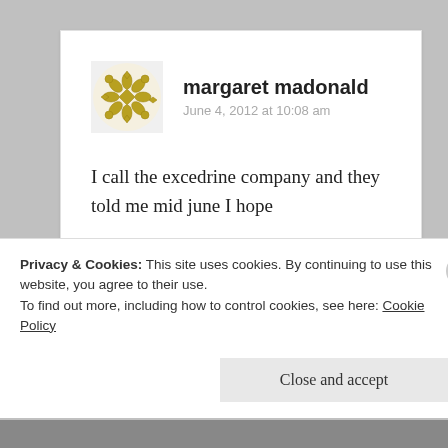margaret madonald
June 4, 2012 at 10:08 am
I call the excedrine company and they told me mid june I hope
Like
Reply
Privacy & Cookies: This site uses cookies. By continuing to use this website, you agree to their use. To find out more, including how to control cookies, see here: Cookie Policy
Close and accept